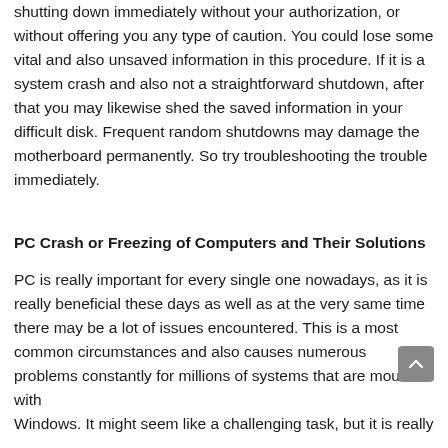shutting down immediately without your authorization, or without offering you any type of caution. You could lose some vital and also unsaved information in this procedure. If it is a system crash and also not a straightforward shutdown, after that you may likewise shed the saved information in your difficult disk. Frequent random shutdowns may damage the motherboard permanently. So try troubleshooting the trouble immediately.
PC Crash or Freezing of Computers and Their Solutions
PC is really important for every single one nowadays, as it is really beneficial these days as well as at the very same time there may be a lot of issues encountered. This is a most common circumstances and also causes numerous problems constantly for millions of systems that are mounted with Windows. It might seem like a challenging task, but it is really